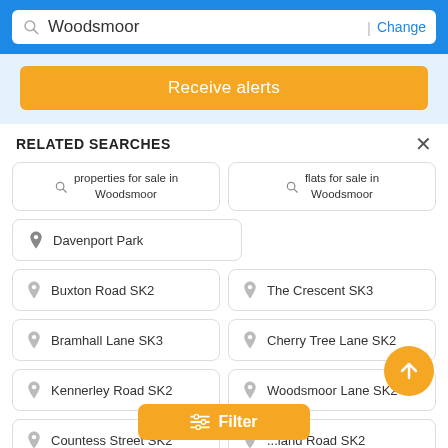Woodsmoor | Change
Receive alerts
RELATED SEARCHES
properties for sale in Woodsmoor
flats for sale in Woodsmoor
Davenport Park
Buxton Road SK2
The Crescent SK3
Bramhall Lane SK3
Cherry Tree Lane SK2
Kennerley Road SK2
Woodsmoor Lane SK2
Countess Street SK2
...land Road SK2
Woodsmoor Railway...